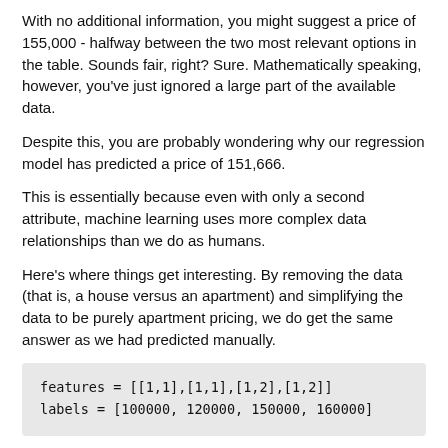With no additional information, you might suggest a price of 155,000 - halfway between the two most relevant options in the table. Sounds fair, right? Sure. Mathematically speaking, however, you've just ignored a large part of the available data.
Despite this, you are probably wondering why our regression model has predicted a price of 151,666.
This is essentially because even with only a second attribute, machine learning uses more complex data relationships than we do as humans.
Here's where things get interesting. By removing the data (that is, a house versus an apartment) and simplifying the data to be purely apartment pricing, we do get the same answer as we had predicted manually.
features = [[1,1],[1,1],[1,2],[1,2]]
labels = [100000, 120000, 150000, 160000]
The prediction is, as we expect, 155,000. The only variable here is the number of bedrooms (one or two), and when we've asked for a